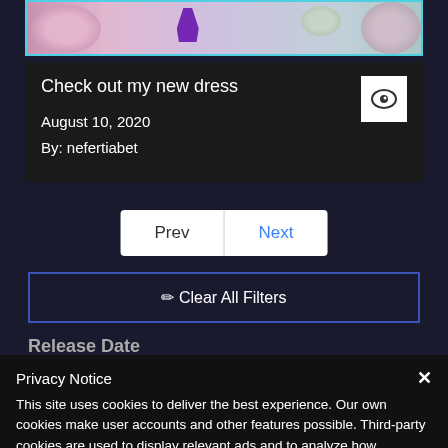[Figure (illustration): Screenshot of a digital art/fashion image showing flowers and a purple high-heel shoe, bordered in teal/cyan]
Check out my new dress
August 10, 2020
By: nefertiabet
Prev  Next
✏ Clear All Filters
Release Date
Privacy Notice
This site uses cookies to deliver the best experience. Our own cookies make user accounts and other features possible. Third-party cookies are used to display relevant ads and to analyze how Renderosity is used. By using our site, you acknowledge that you have read and understood our Terms of Service, including our Cookie Policy and our Privacy Policy.